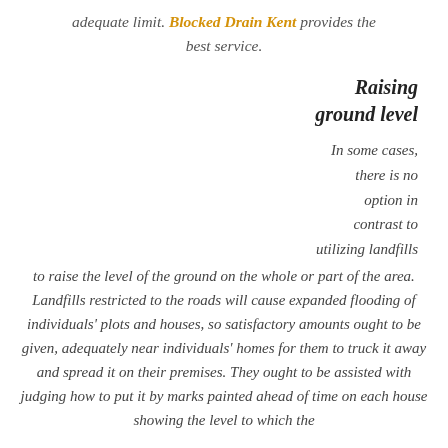adequate limit. Blocked Drain Kent provides the best service.
Raising ground level
In some cases, there is no option in contrast to utilizing landfills to raise the level of the ground on the whole or part of the area. Landfills restricted to the roads will cause expanded flooding of individuals' plots and houses, so satisfactory amounts ought to be given, adequately near individuals' homes for them to truck it away and spread it on their premises. They ought to be assisted with judging how to put it by marks painted ahead of time on each house showing the level to which the